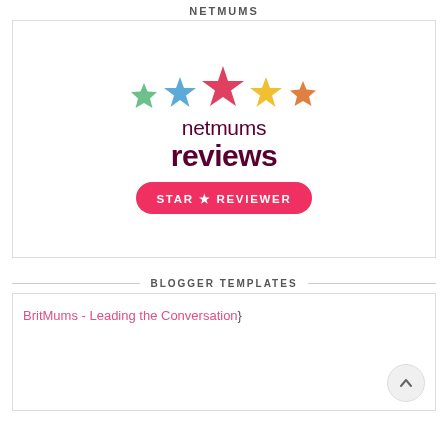NETMUMS
[Figure (logo): Netmums Reviews Star Reviewer logo with five coloured stars (green, blue, red, yellow, orange) above the text 'netmums reviews' in dark red/maroon, and a pink rounded badge reading 'STAR * REVIEWER']
BLOGGER TEMPLATES
[Figure (other): Broken image placeholder with alt text 'BritMums - Leading the Conversation' followed by a closing curly brace character]